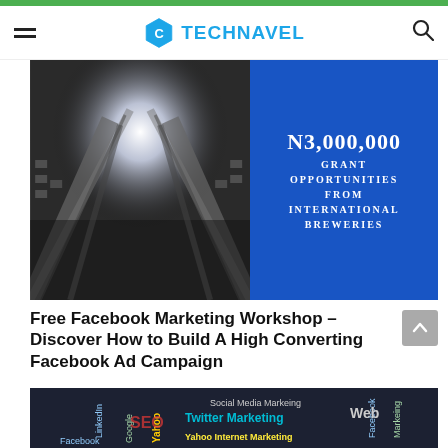TECHNAVEL
[Figure (photo): Composite image: left side shows architectural photo of tall building from below with bright light; right side shows blue background with white text 'N3,000,000 GRANT OPPORTUNITIES FROM INTERNATIONAL BREWERIES']
Free Facebook Marketing Workshop – Discover How to Build A High Converting Facebook Ad Campaign
[Figure (photo): Dark chalkboard-style image with social media marketing terms: Social Media Marketing, Twitter Marketing, Yahoo Internet Marketing, LinkedIn, Google, Yahoo, Web, Facebook, Marketing]